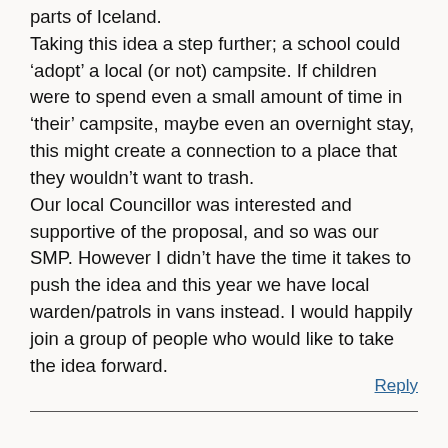parts of Iceland. Taking this idea a step further; a school could 'adopt' a local (or not) campsite. If children were to spend even a small amount of time in 'their' campsite, maybe even an overnight stay, this might create a connection to a place that they wouldn't want to trash. Our local Councillor was interested and supportive of the proposal, and so was our SMP. However I didn't have the time it takes to push the idea and this year we have local warden/patrols in vans instead. I would happily join a group of people who would like to take the idea forward.
Reply